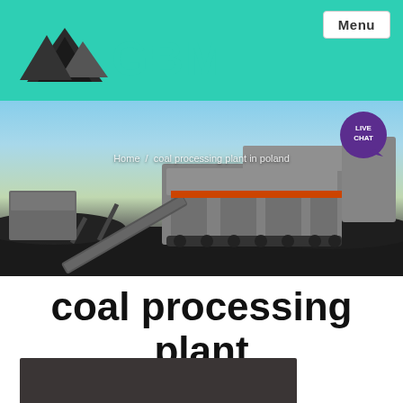GBM — Menu
[Figure (photo): Coal processing plant machinery — large industrial mobile crusher/screening equipment on a job site with blue sky background and coal piles. Breadcrumb overlay reads: Home / coal processing plant in poland. Live chat badge in upper right.]
coal processing plant in poland
[Figure (photo): Dark bottom strip partially visible, appears to be another image of equipment or facility.]